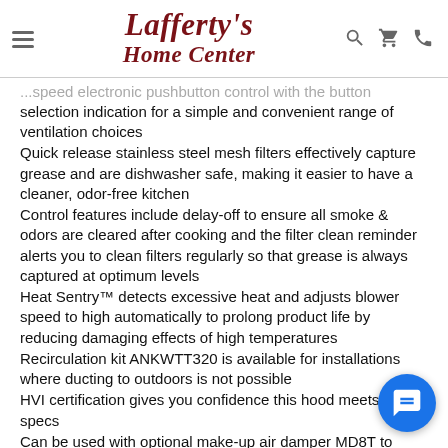Lafferty's Home Center
...speed electronic pushbutton control with the button selection indication for a simple and convenient range of ventilation choices
Quick release stainless steel mesh filters effectively capture grease and are dishwasher safe, making it easier to have a cleaner, odor-free kitchen
Control features include delay-off to ensure all smoke & odors are cleared after cooking and the filter clean reminder alerts you to clean filters regularly so that grease is always captured at optimum levels
Heat Sentry™ detects excessive heat and adjusts blower speed to high automatically to prolong product life by reducing damaging effects of high temperatures
Recirculation kit ANKWTT320 is available for installations where ducting to outdoors is not possible
HVI certification gives you confidence this hood meets rated specs
Can be used with optional make-up air damper MD8T to allow optimum ventilation, keeping your home fresh and reducing energy consumption